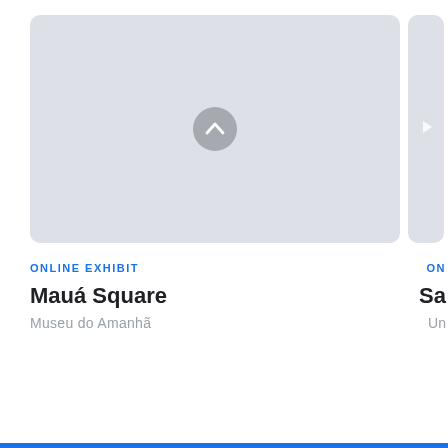[Figure (screenshot): Light gray rounded card with a gray circle button containing an upward chevron arrow in the center, representing a media/exhibit card placeholder. A second partially visible card is on the right edge.]
ONLINE EXHIBIT
Mauá Square
Museu do Amanhã
ON
Sa
Un